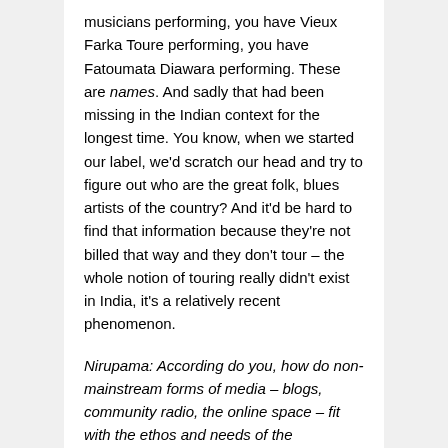musicians performing, you have Vieux Farka Toure performing, you have Fatoumata Diawara performing. These are names. And sadly that had been missing in the Indian context for the longest time. You know, when we started our label, we'd scratch our head and try to figure out who are the great folk, blues artists of the country? And it'd be hard to find that information because they're not billed that way and they don't tour – the whole notion of touring really didn't exist in India, it's a relatively recent phenomenon.
Nirupama: According do you, how do non-mainstream forms of media – blogs, community radio, the online space – fit with the ethos and needs of the independent artist more effectively than mainstream forms of mass media?